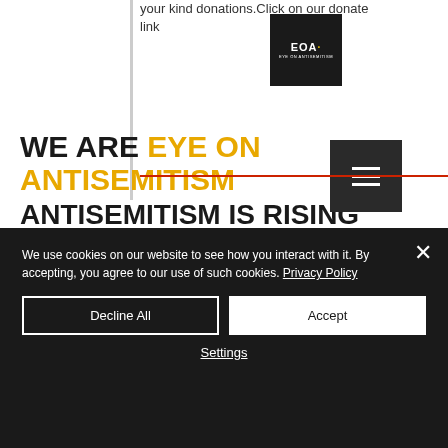your kind donations. Click on our donate link
[Figure (logo): EOA Eye on Antisemitism logo — black square with white text 'EOA' and a yellow dot/superscript]
WE ARE EYE ON ANTISEMITISM ANTISEMITISM IS RISING REPORT ONLINE TO US Established 2008
March 2015 (2)
We use cookies on our website to see how you interact with it. By accepting, you agree to our use of such cookies. Privacy Policy
Decline All
Accept
Settings